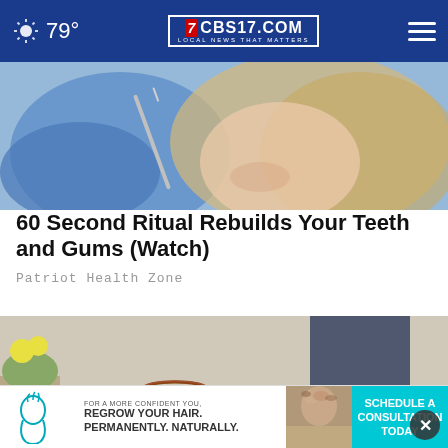79° CBS17.COM LOCAL NEWS THAT MATTERS
[Figure (photo): Dental procedure photo showing gloved hands using dental tools near a patient's mouth with blonde hair visible]
60 Second Ritual Rebuilds Your Teeth and Gums (Watch)
Patriot Health Zone
[Figure (photo): Photo showing feet wearing red sandals with anklets and jeans]
[Figure (photo): Advertisement: For a more confident you. Regrow your hair. Permanently. Naturally. Schedule a consultation today.]